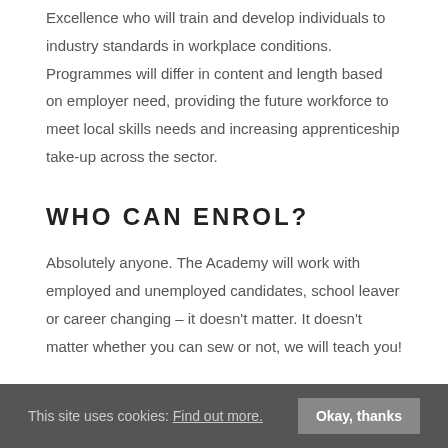Excellence who will train and develop individuals to industry standards in workplace conditions. Programmes will differ in content and length based on employer need, providing the future workforce to meet local skills needs and increasing apprenticeship take-up across the sector.
WHO CAN ENROL?
Absolutely anyone. The Academy will work with employed and unemployed candidates, school leaver or career changing – it doesn't matter. It doesn't matter whether you can sew or not, we will teach you!
This site uses cookies: Find out more. Okay, thanks